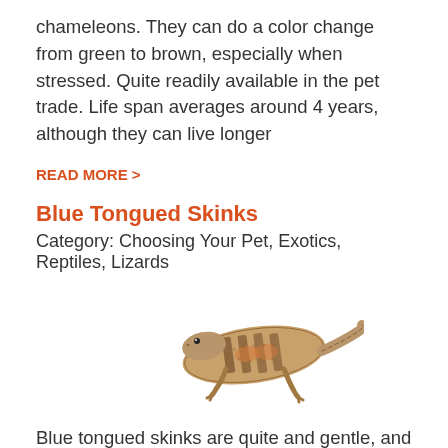chameleons. They can do a color change from green to brown, especially when stressed. Quite readily available in the pet trade. Life span averages around 4 years, although they can live longer
READ MORE >
Blue Tongued Skinks
Category: Choosing Your Pet, Exotics, Reptiles, Lizards
[Figure (photo): Photo of a blue tongued skink lizard on white background]
Blue tongued skinks are quite and gentle, and quite easily tamed and handled. It is reported that even wild blue tongued skinks will sometimes allow themselves to be picked up without a struggle. As pets, blue